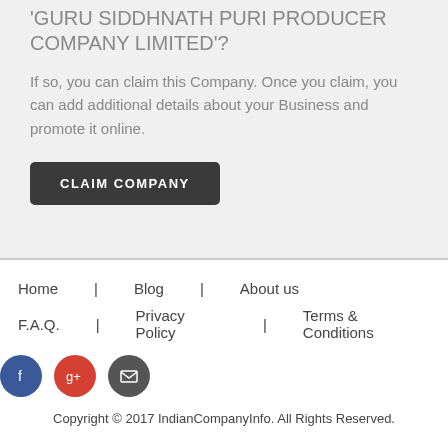'GURU SIDDHNATH PURI PRODUCER COMPANY LIMITED'?
If so, you can claim this Company. Once you claim, you can add additional details about your Business and promote it online.
CLAIM COMPANY
Home | Blog | About us | F.A.Q. | Privacy Policy | Terms & Conditions
Copyright © 2017 IndianCompanyInfo. All Rights Reserved.